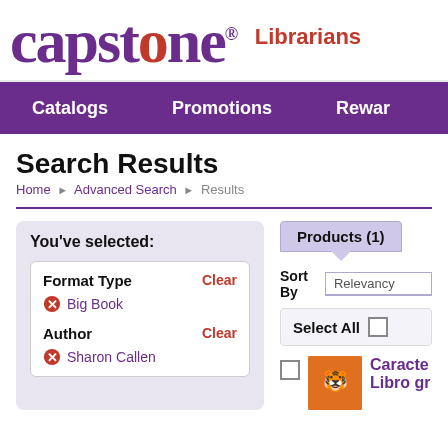[Figure (logo): Capstone logo in purple with red 'o', followed by registered trademark symbol, and 'Librarians' in red bold text]
Catalogs   Promotions   Rewards
Search Results
Home > Advanced Search > Results
You've selected:
Format Type
Clear
Big Book
Author
Clear
Sharon Callen
Products (1)
Sort By   Relevancy
Select All
Caracte... Libro gr...